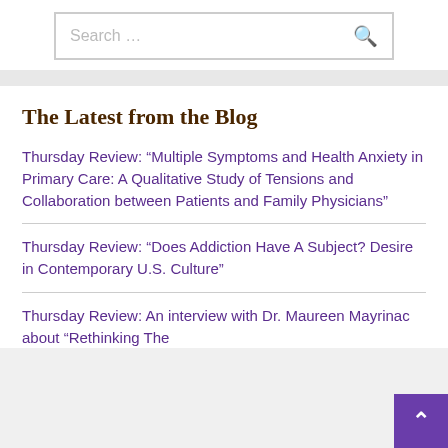Search …
The Latest from the Blog
Thursday Review: “Multiple Symptoms and Health Anxiety in Primary Care: A Qualitative Study of Tensions and Collaboration between Patients and Family Physicians”
Thursday Review: “Does Addiction Have A Subject? Desire in Contemporary U.S. Culture”
Thursday Review: An interview with Dr. Maureen Mayrinac about “Rethinking The…